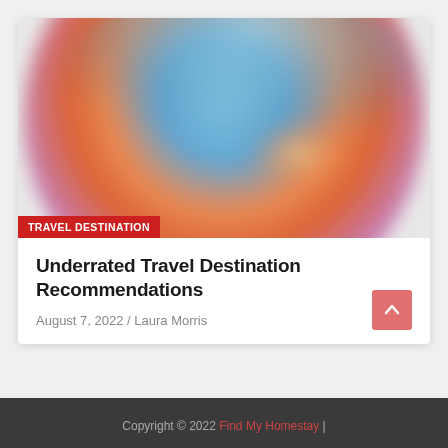[Figure (photo): Blurred circular photo with abstract blue sky at top and warm orange/red tones below, resembling a globe or fisheye travel photo]
TRAVEL DESTINATION
Underrated Travel Destination Recommendations
August 7, 2022 / Laura Morris
Copyright © 2022 Find My Homestay |